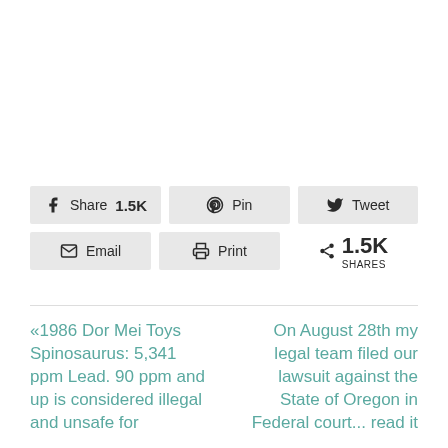[Figure (infographic): Social sharing bar with buttons: Share 1.5K, Pin, Tweet (top row); Email, Print, 1.5K SHARES (bottom row)]
«1986 Dor Mei Toys Spinosaurus: 5,341 ppm Lead. 90 ppm and up is considered illegal and unsafe for
On August 28th my legal team filed our lawsuit against the State of Oregon in Federal court... read it